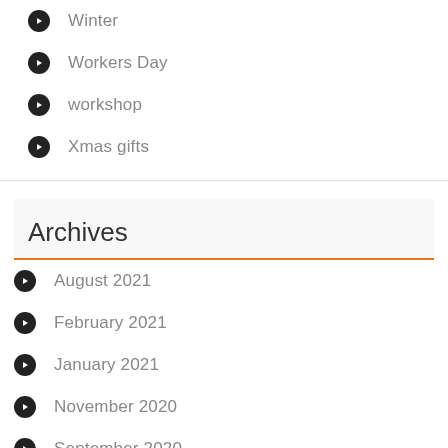Winter
Workers Day
workshop
Xmas gifts
Archives
August 2021
February 2021
January 2021
November 2020
September 2020
August 2020